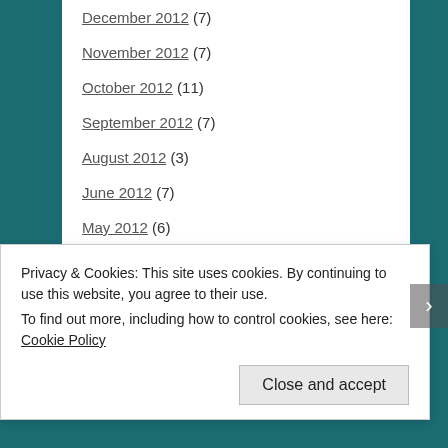December 2012 (7)
November 2012 (7)
October 2012 (11)
September 2012 (7)
August 2012 (3)
June 2012 (7)
May 2012 (6)
April 2012 (8)
March 2012 (9)
February 2012 (10)
January 2012 (10)
December 2011 (6)
Privacy & Cookies: This site uses cookies. By continuing to use this website, you agree to their use. To find out more, including how to control cookies, see here: Cookie Policy
Close and accept